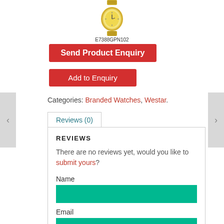[Figure (photo): Gold wristwatch product image with model code E7388GPN102 below it]
E7388GPN102
Send Product Enquiry
Add to Enquiry
Categories: Branded Watches, Westar.
Reviews (0)
REVIEWS
There are no reviews yet, would you like to submit yours?
Name
Email